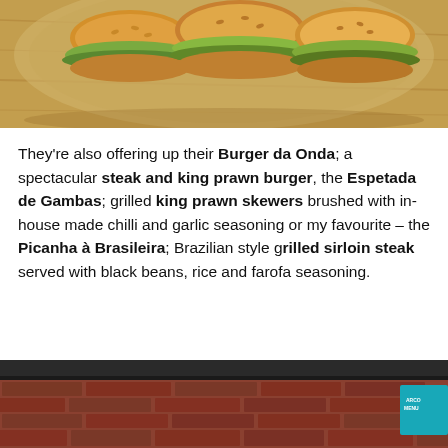[Figure (photo): Photo of burgers/sandwiches on a wooden plate on a wooden surface, viewed from above]
They're also offering up their Burger da Onda; a spectacular steak and king prawn burger, the Espetada de Gambas; grilled king prawn skewers brushed with in-house made chilli and garlic seasoning or my favourite – the Picanha à Brasileira; Brazilian style grilled sirloin steak served with black beans, rice and farofa seasoning.
[Figure (photo): Photo showing a brick wall interior of a restaurant with dark countertop and a teal/blue menu sign visible at the right edge]